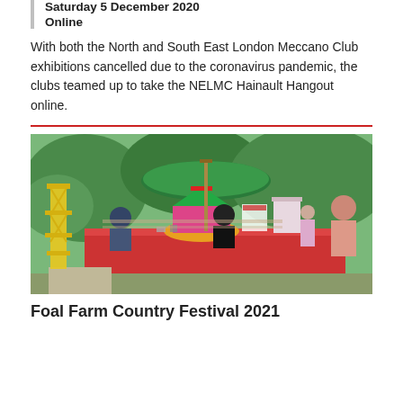Saturday 5 December 2020
Online
With both the North and South East London Meccano Club exhibitions cancelled due to the coronavirus pandemic, the clubs teamed up to take the NELMC Hainault Hangout online.
[Figure (photo): Outdoor Meccano club exhibition display at Foal Farm Country Festival, showing models on a table with a red tablecloth under a green umbrella, with several people and Meccano constructions including a tall yellow structure and colourful carousel model.]
Foal Farm Country Festival 2021